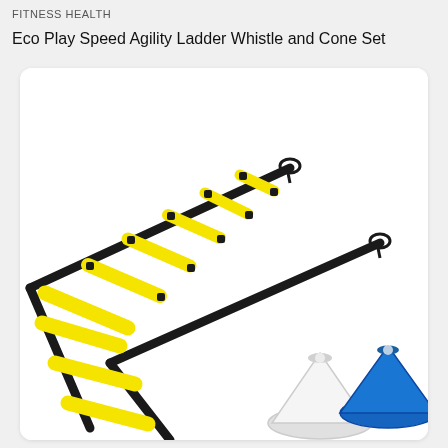FITNESS HEALTH
Eco Play Speed Agility Ladder Whistle and Cone Set
[Figure (photo): Product photo of an Eco Play Speed Agility Ladder (yellow and black) laid flat on white background, with blue and white training cones visible in the bottom right corner.]